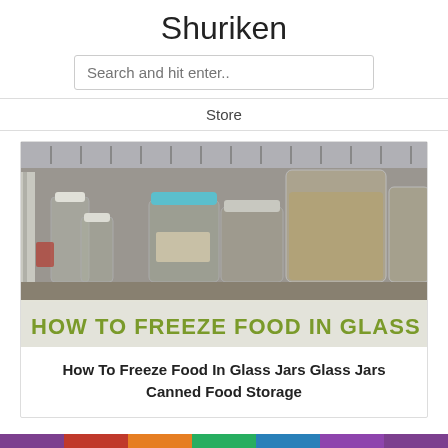Shuriken
Search and hit enter..
Store
[Figure (photo): Photo of glass jars on a refrigerator shelf with text overlay reading HOW TO FREEZE FOOD IN GLASS JARS]
How To Freeze Food In Glass Jars Glass Jars Canned Food Storage